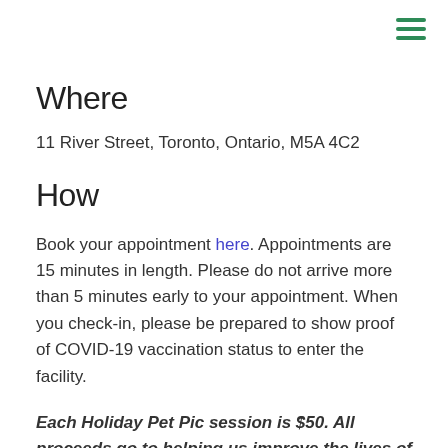[Figure (other): Hamburger menu icon — three horizontal green lines stacked vertically in top-right corner]
Where
11 River Street, Toronto, Ontario, M5A 4C2
How
Book your appointment here. Appointments are 15 minutes in length. Please do not arrive more than 5 minutes early to your appointment. When you check-in, please be prepared to show proof of COVID-19 vaccination status to enter the facility.
Each Holiday Pet Pic session is $50. All proceeds go to helping us improve the lives of animals.